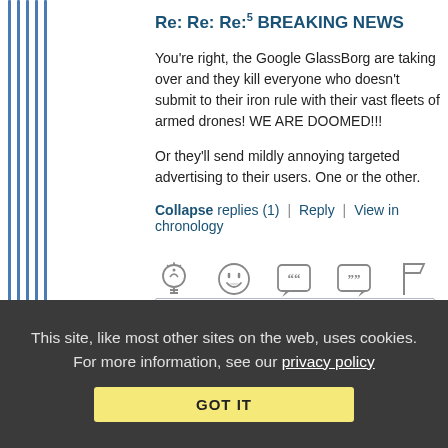Re: Re: Re:5 BREAKING NEWS
You're right, the Google GlassBorg are taking over and they kill everyone who doesn't submit to their iron rule with their vast fleets of armed drones! WE ARE DOOMED!!!

Or they'll send mildly annoying targeted advertising to their users. One or the other.
Collapse replies (1)  |  Reply  |  View in chronology
[Figure (infographic): Row of action icons: lightbulb, laughing emoji, quote bubble with 66, quote bubble with 99, flag]
[Figure (infographic): Reply box with chat icon and [9] count]
This site, like most other sites on the web, uses cookies. For more information, see our privacy policy
GOT IT